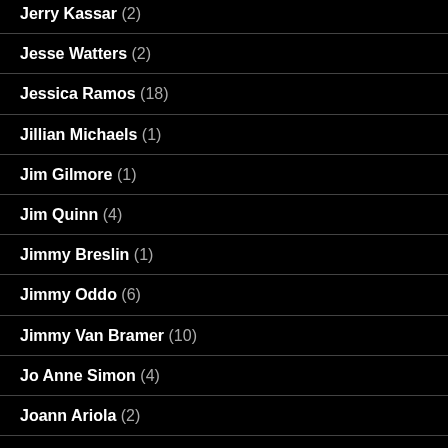Jerry Kassar (2)
Jesse Watters (2)
Jessica Ramos (18)
Jillian Michaels (1)
Jim Gilmore (1)
Jim Quinn (4)
Jimmy Breslin (1)
Jimmy Oddo (6)
Jimmy Van Bramer (10)
Jo Anne Simon (4)
Joann Ariola (2)
Joe Addabbo (6)
Joe Biden (2)